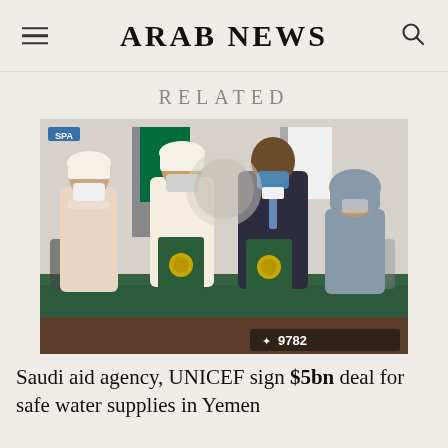ARAB NEWS
RELATED
[Figure (photo): Four people in masks standing behind a conference table, two holding green folders with gold emblems. Saudi and white flags visible in background. Watermark: 9782.]
Saudi aid agency, UNICEF sign $5bn deal for safe water supplies in Yemen